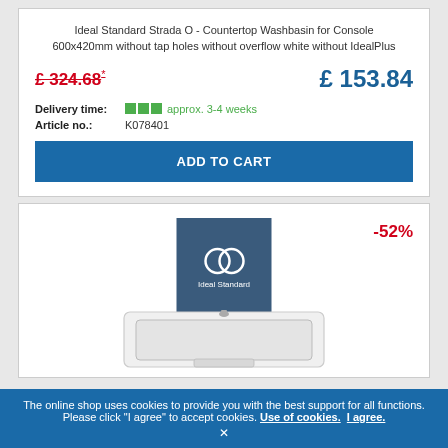Ideal Standard Strada O - Countertop Washbasin for Console 600x420mm without tap holes without overflow white without IdealPlus
£ 324.68*
£ 153.84
Delivery time: approx. 3-4 weeks
Article no.: K078401
ADD TO CART
[Figure (logo): Ideal Standard logo on dark blue background with interlocking rings symbol]
-52%
[Figure (photo): White countertop washbasin partially visible at bottom of card]
The online shop uses cookies to provide you with the best support for all functions. Please click "I agree" to accept cookies. Use of cookies. I agree.